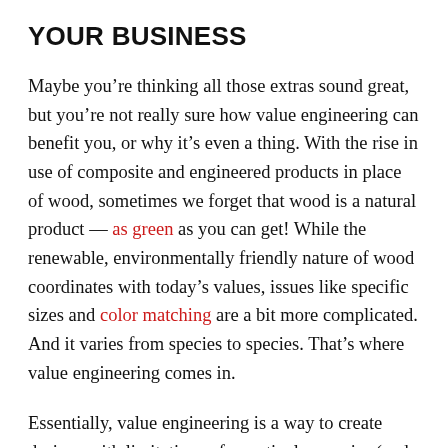YOUR BUSINESS
Maybe you're thinking all those extras sound great, but you're not really sure how value engineering can benefit you, or why it's even a thing. With the rise in use of composite and engineered products in place of wood, sometimes we forget that wood is a natural product — as green as you can get! While the renewable, environmentally friendly nature of wood coordinates with today's values, issues like specific sizes and color matching are a bit more complicated. And it varies from species to species. That's where value engineering comes in.
Essentially, value engineering is a way to create designs with limitations of a particular species (and